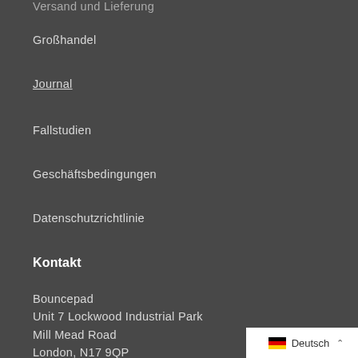Versand und Lieferung
Großhandel
Journal
Fallstudien
Geschäftsbedingungen
Datenschutzrichtlinie
Kontakt
Bouncepad
Unit 7 Lockwood Industrial Park
Mill Mead Road
London, N17 9QP
Deutsch